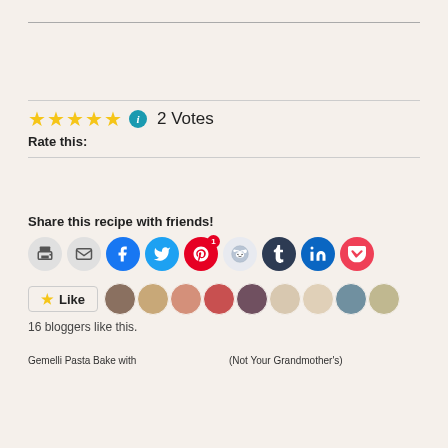★★★★★ 2 Votes
Rate this:
Share this recipe with friends!
[Figure (infographic): Row of social sharing icon buttons: print, email, Facebook, Twitter, Pinterest (with count 1), Reddit, Tumblr, LinkedIn, Pocket]
Like
[Figure (photo): Row of circular blogger avatar photos: 9 avatars shown]
16 bloggers like this.
[Figure (photo): Gemelli Pasta Bake dish in white casserole dish, cheesy browned top]
[Figure (photo): (Not Your Grandmother's) pasta dish in white oval dish with golden cheese crust]
Gemelli Pasta Bake with
(Not Your Grandmother's)